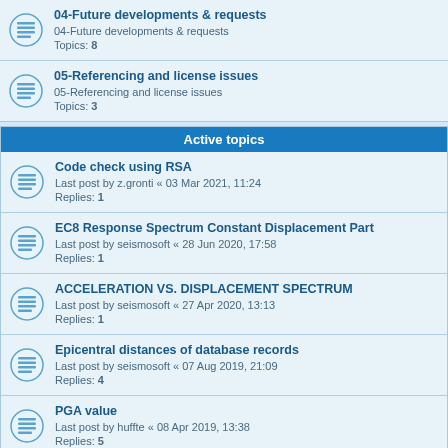04-Future developments & requests
04-Future developments & requests
Topics: 8
05-Referencing and license issues
05-Referencing and license issues
Topics: 3
Active topics
Code check using RSA
Last post by z.gronti « 03 Mar 2021, 11:24
Replies: 1
EC8 Response Spectrum Constant Displacement Part
Last post by seismosoft « 28 Jun 2020, 17:58
Replies: 1
ACCELERATION VS. DISPLACEMENT SPECTRUM
Last post by seismosoft « 27 Apr 2020, 13:13
Replies: 1
Epicentral distances of database records
Last post by seismosoft « 07 Aug 2019, 21:09
Replies: 4
PGA value
Last post by huffte « 08 Apr 2019, 13:38
Replies: 5
scaling development
Last post by seismosoft « 22 Feb 2019, 16:13
Replies: 1